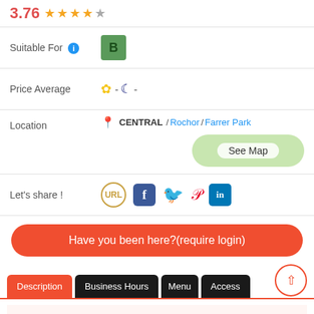3.76 ★★★★☆
Suitable For  B
Price Average  ☀ - 🌙 -
Location  📍 CENTRAL / Rochor / Farrer Park  See Map
Let's share !  URL  Facebook  Twitter  Pinterest  LinkedIn
Have you been here?(require login)
Description  Business Hours  Menu  Access
Phone